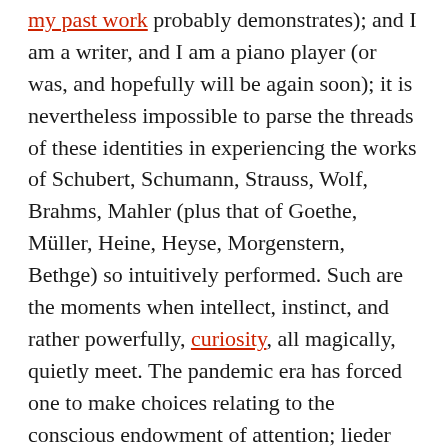my past work probably demonstrates); and I am a writer, and I am a piano player (or was, and hopefully will be again soon); it is nevertheless impossible to parse the threads of these identities in experiencing the works of Schubert, Schumann, Strauss, Wolf, Brahms, Mahler (plus that of Goethe, Müller, Heine, Heyse, Morgenstern, Bethge) so intuitively performed. Such are the moments when intellect, instinct, and rather powerfully, curiosity, all magically, quietly meet. The pandemic era has forced one to make choices relating to the conscious endowment of attention; lieder has always placed large demands in this area, but the current times of forced isolation have allowed, at least on my own part, an even greater level of received power. There are no other breathing, coughing bodies to mediate